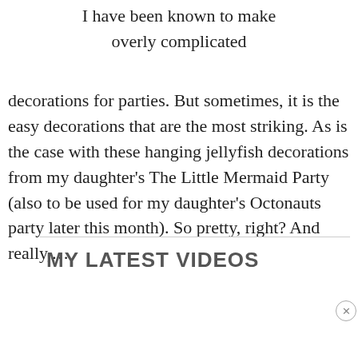I have been known to make overly complicated decorations for parties. But sometimes, it is the easy decorations that are the most striking. As is the case with these hanging jellyfish decorations from my daughter's The Little Mermaid Party (also to be used for my daughter's Octonauts party later this month). So pretty, right? And really,…
MY LATEST VIDEOS
[Figure (screenshot): A video player showing a black screen on top and a light gray loading area below with a spinner icon. A close button (×) appears at the bottom right.]